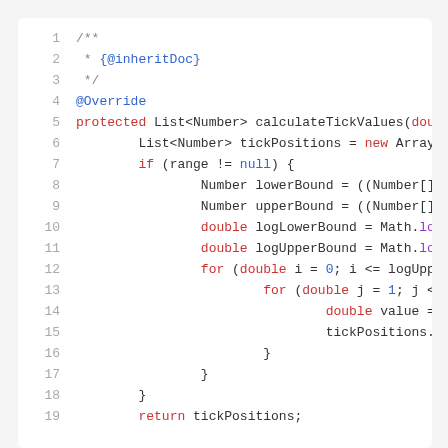[Figure (screenshot): Java source code snippet showing lines 1-19 of a method calculateTickValues, with syntax highlighting in a white code editor panel. Lines include Javadoc comment, @Override annotation, method signature, ArrayList initialization, if-block with range checks, Math.log10 calls, nested for loops, and return statement.]